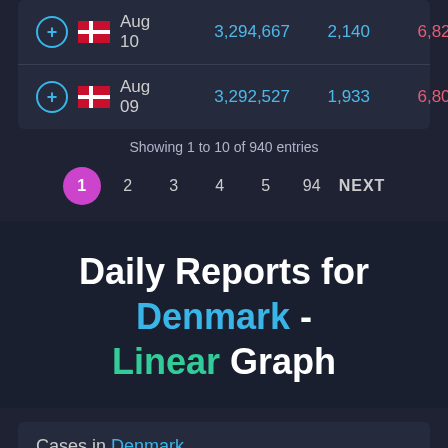| Date | Total Cases | New Cases | Deaths |
| --- | --- | --- | --- |
| Aug 10 | 3,294,667 | 2,140 | 6,823 |
| Aug 09 | 3,292,527 | 1,933 | 6,807 |
Showing 1 to 10 of 940 entries
1 2 3 4 5 94 NEXT
Daily Reports for Denmark - Linear Graph
Cases in Denmark